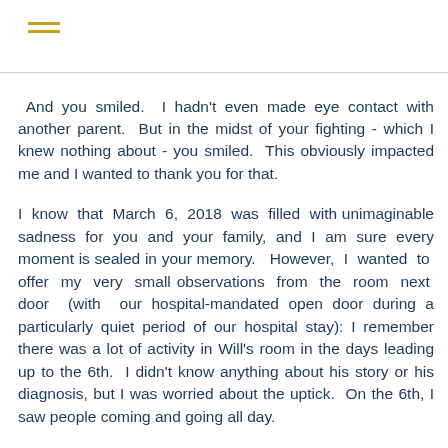[Figure (other): Hamburger menu icon with two horizontal golden/yellow lines]
And you smiled. I hadn't even made eye contact with another parent. But in the midst of your fighting - which I knew nothing about - you smiled. This obviously impacted me and I wanted to thank you for that.

I know that March 6, 2018 was filled with unimaginable sadness for you and your family, and I am sure every moment is sealed in your memory. However, I wanted to offer my very small observations from the room next door (with our hospital-mandated open door during a particularly quiet period of our hospital stay): I remember there was a lot of activity in Will's room in the days leading up to the 6th. I didn't know anything about his story or his diagnosis, but I was worried about the uptick. On the 6th, I saw people coming and going all day.